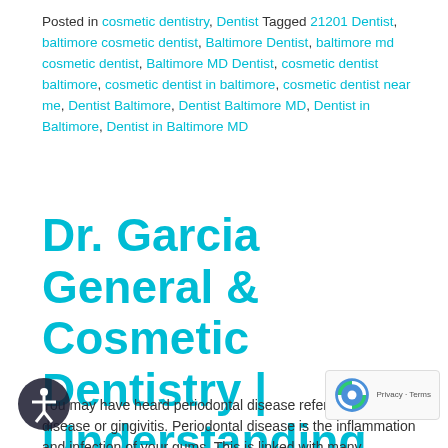Posted in cosmetic dentistry, Dentist Tagged 21201 Dentist, baltimore cosmetic dentist, Baltimore Dentist, baltimore md cosmetic dentist, Baltimore MD Dentist, cosmetic dentist baltimore, cosmetic dentist in baltimore, cosmetic dentist near me, Dentist Baltimore, Dentist Baltimore MD, Dentist in Baltimore, Dentist in Baltimore MD
Dr. Garcia General & Cosmetic Dentistry | Understanding Periodontal Disease
You may have heard periodontal disease referred to as gum disease or gingivitis. Periodontal disease is the inflammation and infection of your gums. This is linked with many undesirable traits, such as swollen and red gums, Persistent bleeding, chronic bad breath, and more. If left untreated, it can